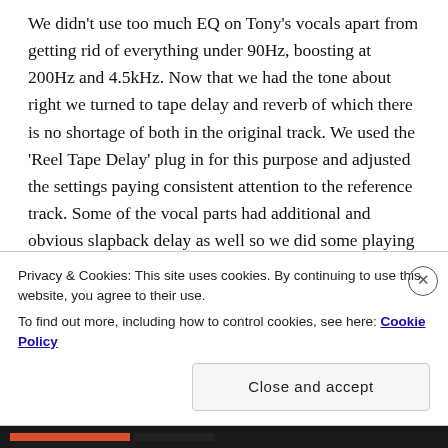We didn't use too much EQ on Tony's vocals apart from getting rid of everything under 90Hz, boosting at 200Hz and 4.5kHz. Now that we had the tone about right we turned to tape delay and reverb of which there is no shortage of both in the original track. We used the 'Reel Tape Delay' plug in for this purpose and adjusted the settings paying consistent attention to the reference track. Some of the vocal parts had additional and obvious slapback delay as well so we did some playing around and found a 'Tube Delay' plug in which had a slapback preset which we used then following it with more Reel Tape Delay with some heavier settings.
Privacy & Cookies: This site uses cookies. By continuing to use this website, you agree to their use.
To find out more, including how to control cookies, see here: Cookie Policy
Close and accept